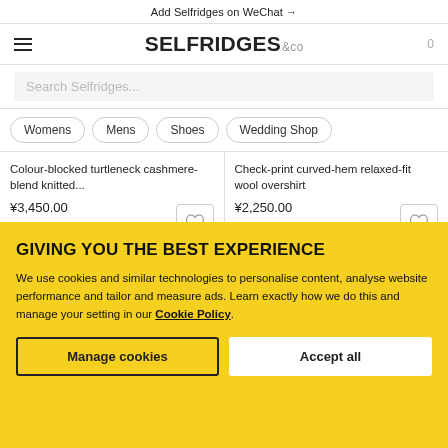Add Selfridges on WeChat →
[Figure (logo): Selfridges & Co logo with hamburger menu and cart]
Search Selfridges...
Womens
Mens
Shoes
Wedding Shop
Colour-blocked turtleneck cashmere-blend knitted... ¥3,450.00
Check-print curved-hem relaxed-fit wool overshirt ¥2,250.00
GIVING YOU THE BEST EXPERIENCE
We use cookies and similar technologies to personalise content, analyse website performance and tailor and measure ads. Learn exactly how we do this and manage your setting in our Cookie Policy.
Manage cookies
Accept all